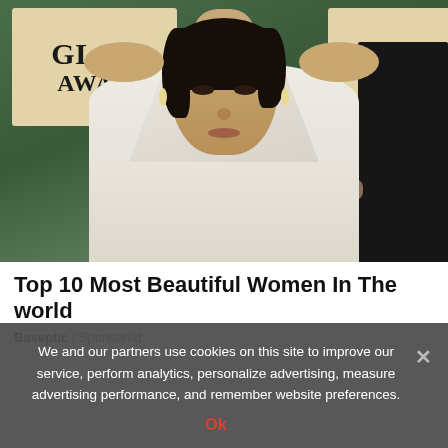[Figure (photo): A woman in a white dress at the Golden Globe Awards, posing in front of golden Globe Awards signs. A person in a dark suit is visible on the right edge.]
Top 10 Most Beautiful Women In The world
Baseptic | Sponsored
We and our partners use cookies on this site to improve our service, perform analytics, personalize advertising, measure advertising performance, and remember website preferences.
Ok